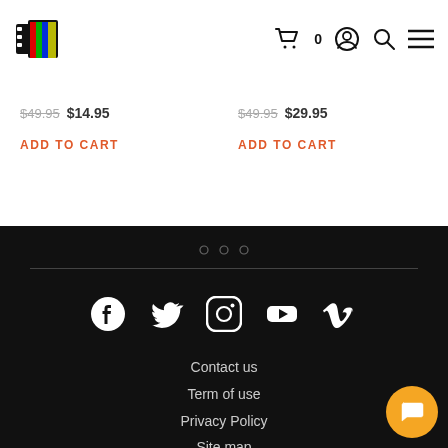Site header with logo, cart (0), account, search, and menu icons
$49.95 $14.95
ADD TO CART
$49.95 $29.95
ADD TO CART
[Figure (other): Dark footer section with three dots (ooo) pagination indicator, horizontal divider line, social media icons (Facebook, Twitter, Instagram, YouTube, Vimeo), and footer navigation links: Contact us, Term of use, Privacy Policy, Site map]
Contact us
Term of use
Privacy Policy
Site map